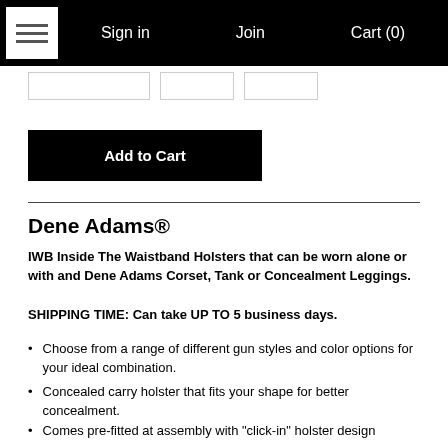Sign in   Join   Cart (0)
[Figure (screenshot): Black navigation bar with hamburger menu icon, Sign in, Join, and Cart (0) links; below it a partial sub-navigation row with three button placeholders]
Add to Cart
Dene Adams®
IWB Inside The Waistband Holsters that can be worn alone or with and Dene Adams Corset, Tank or Concealment Leggings.
SHIPPING TIME: Can take UP TO 5 business days.
Choose from a range of different gun styles and color options for your ideal combination.
Concealed carry holster that fits your shape for better concealment.
Comes pre-fitted at assembly with "click-in" holster design...